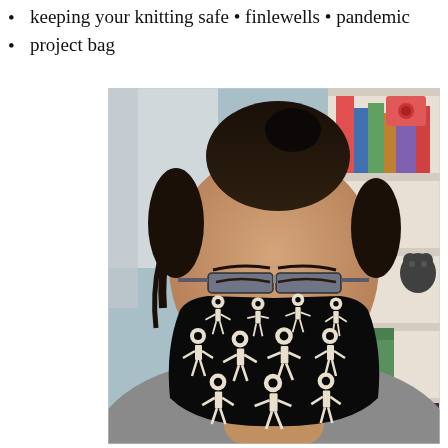keeping your knitting safe • finlewells • pandemic
project bag
[Figure (photo): Selfie photo of a person wearing a black face mask covered in white skeleton pattern. The person has dark hair pulled up, glasses, and is wearing a grey hoodie. In the background there is a white bookshelf with books and items.]